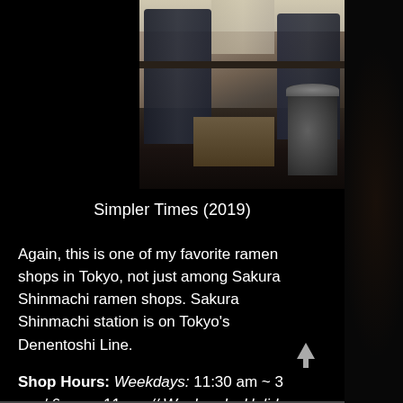[Figure (photo): Interior of a ramen shop in Tokyo, showing two men in suits seated at a counter, with kitchen equipment and shelving visible in the background.]
Simpler Times (2019)
Again, this is one of my favorite ramen shops in Tokyo, not just among Sakura Shinmachi ramen shops. Sakura Shinmachi station is on Tokyo's Denentoshi Line.
Shop Hours: Weekdays: 11:30 am ~ 3 pm / 6 pm ~ 11 pm // Weekends, Holidays: 11:30 am ~ 11 pm